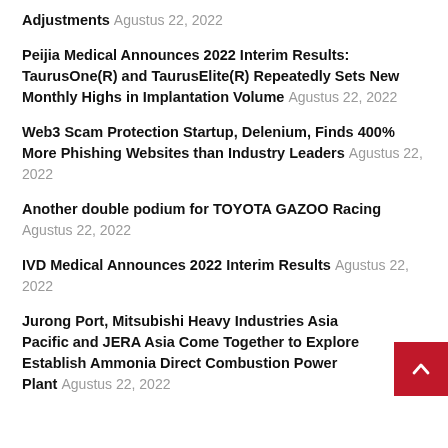Adjustments Agustus 22, 2022
Peijia Medical Announces 2022 Interim Results: TaurusOne(R) and TaurusElite(R) Repeatedly Sets New Monthly Highs in Implantation Volume Agustus 22, 2022
Web3 Scam Protection Startup, Delenium, Finds 400% More Phishing Websites than Industry Leaders Agustus 22, 2022
Another double podium for TOYOTA GAZOO Racing Agustus 22, 2022
IVD Medical Announces 2022 Interim Results Agustus 22, 2022
Jurong Port, Mitsubishi Heavy Industries Asia Pacific and JERA Asia Come Together to Explore Establish Ammonia Direct Combustion Power Plant Agustus 22, 2022